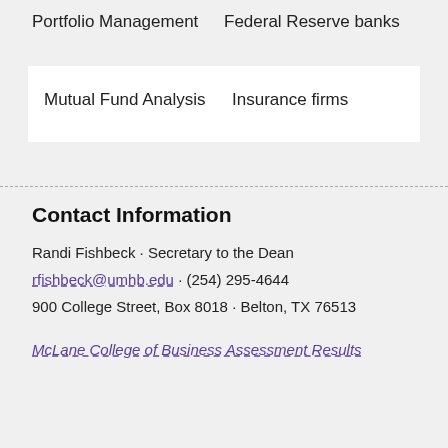Portfolio Management
Federal Reserve banks
| Mutual Fund Analysis | Insurance firms |
Contact Information
Randi Fishbeck · Secretary to the Dean
rfishbeck@umhb.edu · (254) 295-4644
900 College Street, Box 8018 · Belton, TX 76513
McLane College of Business Assessment Results